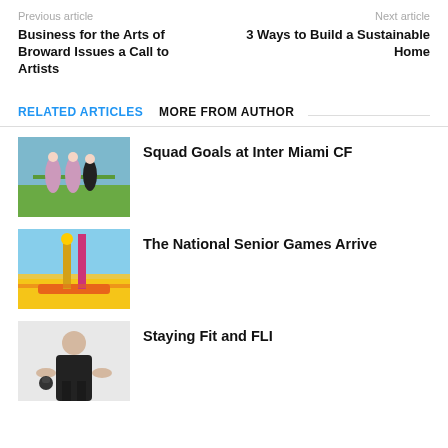Previous article | Next article
Business for the Arts of Broward Issues a Call to Artists
3 Ways to Build a Sustainable Home
RELATED ARTICLES  MORE FROM AUTHOR
[Figure (photo): Soccer players in pink/white uniforms standing on a field]
Squad Goals at Inter Miami CF
[Figure (photo): National Senior Games event with colorful banners and athletes outdoors]
The National Senior Games Arrive
[Figure (photo): Fit man in black outfit holding a kettlebell against white background]
Staying Fit and FLI